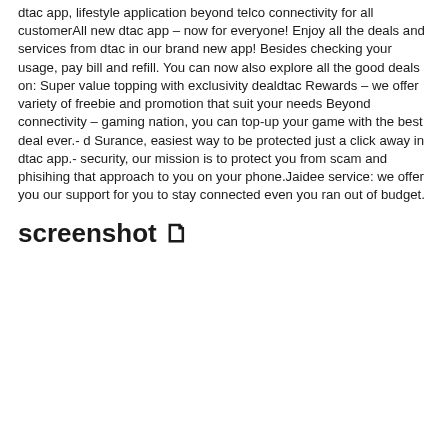dtac app, lifestyle application beyond telco connectivity for all customerAll new dtac app – now for everyone! Enjoy all the deals and services from dtac in our brand new app! Besides checking your usage, pay bill and refill. You can now also explore all the good deals on: Super value topping with exclusivity dealdtac Rewards – we offer variety of freebie and promotion that suit your needs Beyond connectivity – gaming nation, you can top-up your game with the best deal ever.- d Surance, easiest way to be protected just a click away in dtac app.- security, our mission is to protect you from scam and phisihing that approach to you on your phone.Jaidee service: we offer you our support for you to stay connected even you ran out of budget.
screenshot 🗋